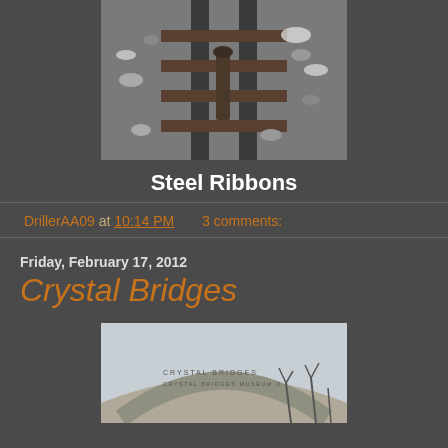[Figure (photo): Black and white photograph of steel railway tracks with a wooden cross-tie visible, rocks alongside the tracks, snow visible on some surfaces.]
Steel Ribbons
DrillerAA09 at 10:14 PM   3 comments:
Friday, February 17, 2012
Crystal Bridges
[Figure (photo): Photograph of the Crystal Bridges Museum of American Art building exterior, showing a curved concrete structure with 'CRYSTAL BRIDGES MUSEUM OF' text engraved, bare trees visible in the background against an overcast sky.]